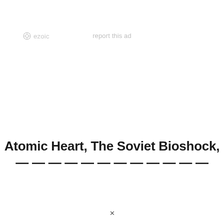ezoic   report this ad
Atomic Heart, The Soviet Bioshock,